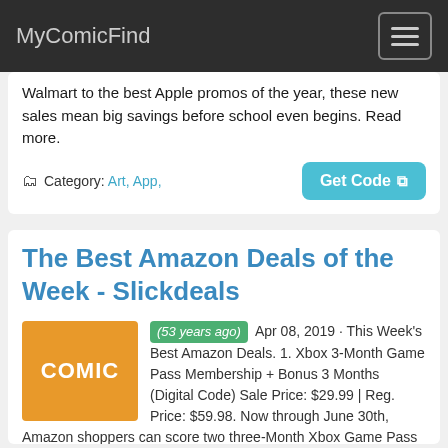MyComicFind
Walmart to the best Apple promos of the year, these new sales mean big savings before school even begins. Read more.
Category: Art, App,
Get Code
The Best Amazon Deals of the Week - Slickdeals
(53 years ago) Apr 08, 2019 · This Week's Best Amazon Deals. 1. Xbox 3-Month Game Pass Membership + Bonus 3 Months (Digital Code) Sale Price: $29.99 | Reg. Price: $59.98. Now through June 30th, Amazon shoppers can score two three-Month Xbox Game Pass memberships for the price of one. According to our community, this deal appears to be limited to one promotion per account ...